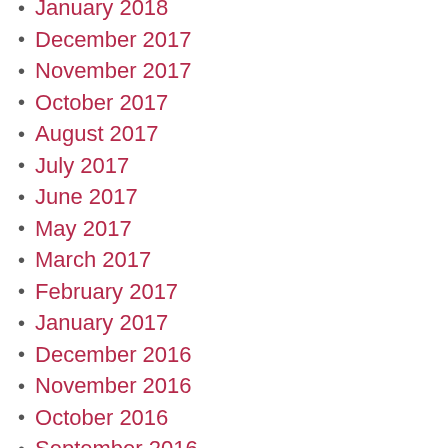January 2018
December 2017
November 2017
October 2017
August 2017
July 2017
June 2017
May 2017
March 2017
February 2017
January 2017
December 2016
November 2016
October 2016
September 2016
August 2016
July 2016
June 2016
May 2016